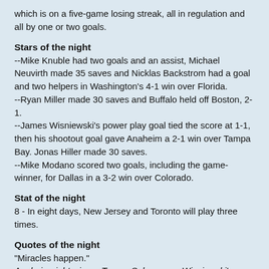which is on a five-game losing streak, all in regulation and all by one or two goals.
Stars of the night
--Mike Knuble had two goals and an assist, Michael Neuvirth made 35 saves and Nicklas Backstrom had a goal and two helpers in Washington's 4-1 win over Florida.
--Ryan Miller made 30 saves and Buffalo held off Boston, 2-1.
--James Wisniewski's power play goal tied the score at 1-1, then his shootout goal gave Anaheim a 2-1 win over Tampa Bay. Jonas Hiller made 30 saves.
--Mike Modano scored two goals, including the game-winner, for Dallas in a 3-2 win over Colorado.
Stat of the night
8 - In eight days, New Jersey and Toronto will play three times.
Quotes of the night
"Miracles happen."
Anaheim right winger Teemu Selanne, on Wisniewski's